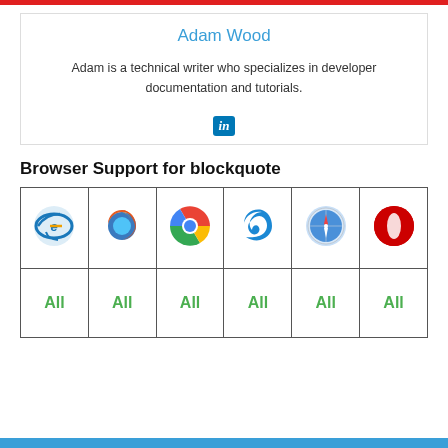Adam Wood
Adam is a technical writer who specializes in developer documentation and tutorials.
[Figure (logo): LinkedIn logo icon (in)]
Browser Support for blockquote
| IE | Firefox | Chrome | Edge | Safari | Opera |
| --- | --- | --- | --- | --- | --- |
| [IE icon] | [Firefox icon] | [Chrome icon] | [Edge icon] | [Safari icon] | [Opera icon] |
| All | All | All | All | All | All |
[Figure (other): Blue footer bar]